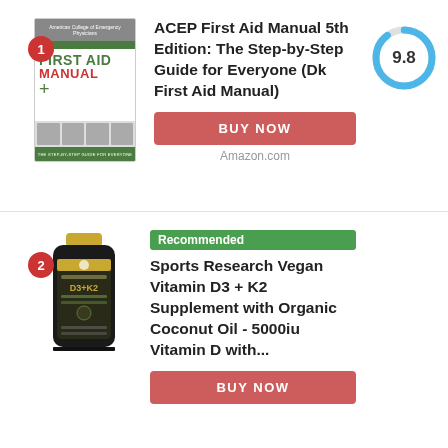[Figure (illustration): Rank 1 badge (red circle with white '1') and book thumbnail for ACEP First Aid Manual]
ACEP First Aid Manual 5th Edition: The Step-by-Step Guide for Everyone (Dk First Aid Manual)
[Figure (other): Score donut chart showing 9.8 out of 10, blue arc on grey circle]
BUY NOW
Amazon.com
[Figure (illustration): Rank 2 badge (red circle with white '2') and pill bottle image for Sports Research supplement]
Recommended
Sports Research Vegan Vitamin D3 + K2 Supplement with Organic Coconut Oil - 5000iu Vitamin D with...
[Figure (other): Score donut chart showing 9.3 out of 10, blue arc on grey circle]
BUY NOW